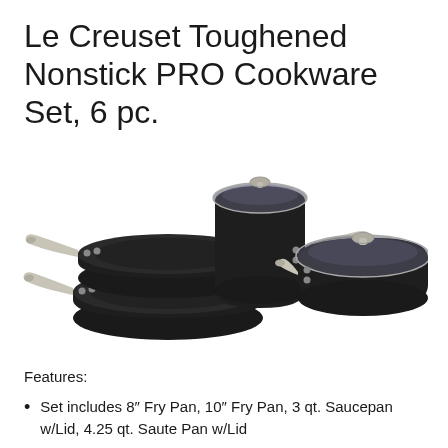Le Creuset Toughened Nonstick PRO Cookware Set, 6 pc.
[Figure (photo): Photo of Le Creuset Toughened Nonstick PRO Cookware Set showing two fry pans stacked on the left, a saucepan with glass lid in the center, and a saute pan with glass lid on the right, all in black with stainless steel handles.]
Features:
Set includes 8″ Fry Pan, 10″ Fry Pan, 3 qt. Saucepan w/Lid, 4.25 qt. Saute Pan w/Lid